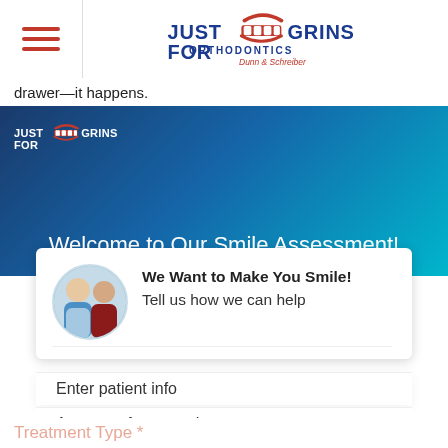Just For Grins Orthodontics — Dunn & Schreiber
drawer—it happens.
[Figure (logo): Just For Grins Orthodontics logo with smiling mouth graphic on blue gradient banner background]
Welcome to Our Smile Assessment!
We Want to Make You Smile! Tell us how we can help
Enter patient info
Answer a few questions
Snap pics of your teeth
Treatment Type *